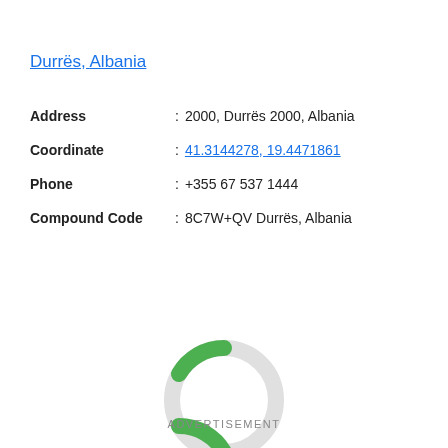Durrës, Albania
Address : 2000, Durrës 2000, Albania
Coordinate : 41.3144278, 19.4471861
Phone : +355 67 537 1444
Compound Code: 8C7W+QV Durrës, Albania
[Figure (other): Loading spinner / donut arc indicator showing a green arc segment on a light gray circle ring]
ADVERTISEMENT